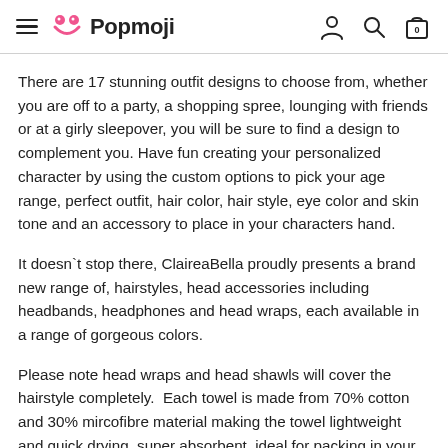Popmoji
There are 17 stunning outfit designs to choose from, whether you are off to a party, a shopping spree, lounging with friends or at a girly sleepover, you will be sure to find a design to complement you. Have fun creating your personalized character by using the custom options to pick your age range, perfect outfit, hair color, hair style, eye color and skin tone and an accessory to place in your characters hand.
It doesn`t stop there, ClaireaBella proudly presents a brand new range of, hairstyles, head accessories including headbands, headphones and head wraps, each available in a range of gorgeous colors.
Please note head wraps and head shawls will cover the hairstyle completely.  Each towel is made from 70% cotton and 30% mircofibre material making the towel lightweight and quick drying, super absorbent, ideal for packing in your